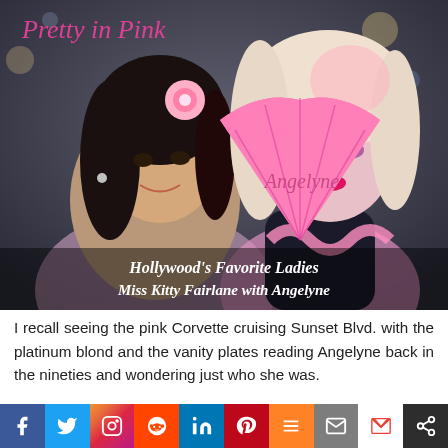[Figure (photo): Photo of two women posing together. On the left is Miss Kitty Fairlane wearing a pink flower in her dark hair and a light pink outfit. On the right is Angelyne with platinum blonde/pink hair, heavy makeup, holding a bright pink fan with her signature 'Angelyne' written on it. Text overlay reads 'Pretty in Pink' in cursive at top, and caption at bottom reads 'Hollywood's Favorite Ladies Miss Kitty Fairlane with Angelyne'.]
I recall seeing the pink Corvette cruising Sunset Blvd. with the platinum blond and the vanity plates reading Angelyne back in the nineties and wondering just who she was.
[Figure (infographic): Social media sharing bar with icons for Facebook, Twitter, Instagram, Reddit, LinkedIn, Pinterest, Mix, Email, Gmail, and Share buttons.]